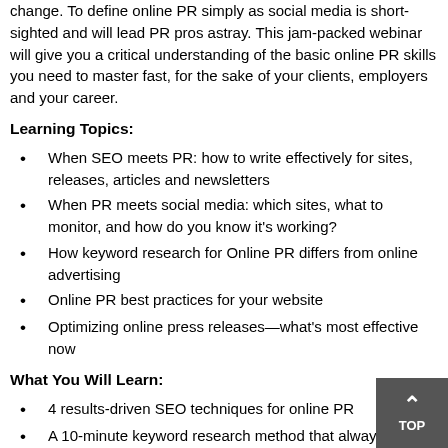change. To define online PR simply as social media is short-sighted and will lead PR pros astray. This jam-packed webinar will give you a critical understanding of the basic online PR skills you need to master fast, for the sake of your clients, employers and your career.
Learning Topics:
When SEO meets PR: how to write effectively for sites, releases, articles and newsletters
When PR meets social media: which sites, what to monitor, and how do you know it's working?
How keyword research for Online PR differs from online advertising
Online PR best practices for your website
Optimizing online press releases—what's most effective now
What You Will Learn:
4 results-driven SEO techniques for online PR
A 10-minute keyword research method that always yields insights
The right and wrong role websites play with Online PR